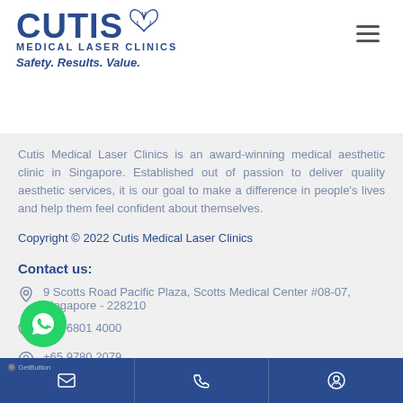[Figure (logo): Cutis Medical Laser Clinics logo with butterfly icon, tagline Safety. Results. Value.]
Cutis Medical Laser Clinics is an award-winning medical aesthetic clinic in Singapore. Established out of passion to deliver quality aesthetic services, it is our goal to make a difference in people's lives and help them feel confident about themselves.
Copyright © 2022 Cutis Medical Laser Clinics
Contact us:
9 Scotts Road Pacific Plaza, Scotts Medical Center #08-07, Singapore - 228210
+65 6801 4000
+65 9780 2079
@cutislaserclinics.com
GetButton | email | phone | whatsapp